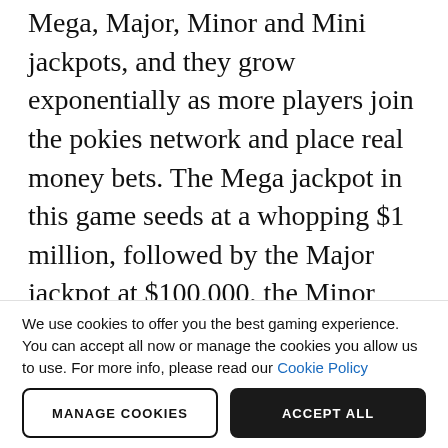Mega, Major, Minor and Mini jackpots, and they grow exponentially as more players join the pokies network and place real money bets. The Mega jackpot in this game seeds at a whopping $1 million, followed by the Major jackpot at $100,000, the Minor jackpot at $100 and the Mini jackpot at 10.00. Your chances of winning will be totally random, but
We use cookies to offer you the best gaming experience. You can accept all now or manage the cookies you allow us to use. For more info, please read our Cookie Policy
MANAGE COOKIES
ACCEPT ALL